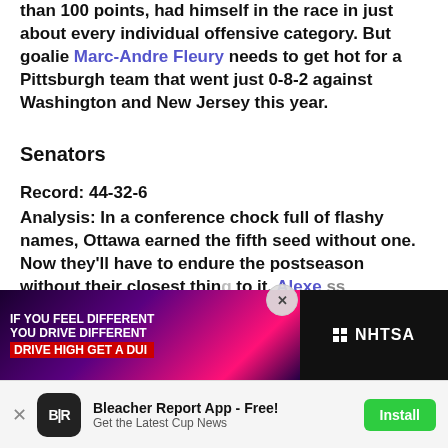the regular season. Crosby, again with more than 100 points, had himself in the race in just about every individual offensive category. But goalie Marc-Andre Fleury needs to get hot for a Pittsburgh team that went just 0-8-2 against Washington and New Jersey this year.
Senators
Record: 44-32-6
Analysis: In a conference chock full of flashy names, Ottawa earned the fifth seed without one. Now they'll have to endure the postseason without their closest thing to it. Alexe... ss final-... ss
[Figure (screenshot): NHTSA advertisement banner: 'IF YOU FEEL DIFFERENT YOU DRIVE DIFFERENT DRIVE HIGH GET A DUI' with dark purple/pink background and NHTSA logo]
[Figure (screenshot): Bleacher Report App install banner at bottom: BR logo, 'Bleacher Report App - Free! Get the Latest Cup News', Install button]